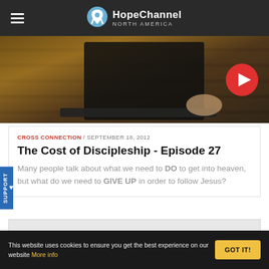HopeChannel NORTH AMERICA
[Figure (screenshot): Hero image showing a laptop on a brick wall surface with a red play button overlay in the top right corner]
CROSS CONNECTION / SEPTEMBER 18, 2012
The Cost of Discipleship - Episode 27
Many people talk about what we need to DO to get into heaven, but what do we need to GIVE UP in order to follow Jesus?
This website uses cookies to ensure you get the best experience on our website More info
GOT IT!